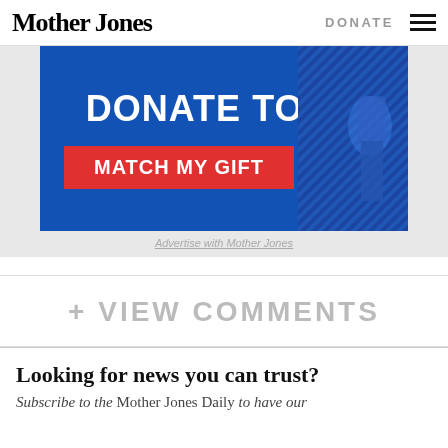Mother Jones | DONATE ☰
[Figure (infographic): Mother Jones donation advertisement banner with blue background, text 'DONATE TODAY.' in white bold, red button 'MATCH MY GIFT', and decorative diagonal graphic on right]
Advertise with Mother Jones
+ VIEW COMMENTS
Looking for news you can trust?
Subscribe to the Mother Jones Daily to have our